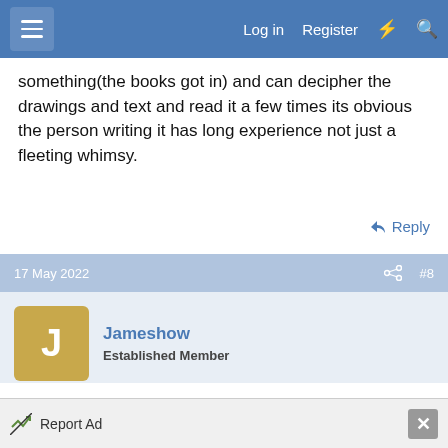Log in  Register
something(the books got in) and can decipher the drawings and text and read it a few times its obvious the person writing it has long experience not just a fleeting whimsy.
Reply
17 May 2022  #8
Jameshow
Established Member
Paul Sellar does some good project videos but it's all subscription tbh.
Report Ad